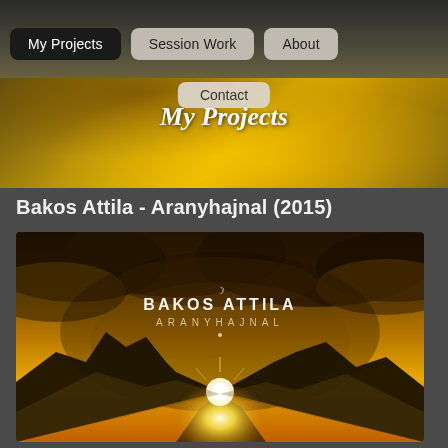My Projects | Session Work | About
Contact
My Projects
Bakos Attila - Aranyhajnal (2015)
[Figure (illustration): Album cover for Bakos Attila - Aranyhajnal (2015). Shows a dramatic golden landscape with stormy clouds, mountains, and a bright sun rising between peaks. Text on cover reads 'BAKOS ATTILA' and 'ARANYHAJNAL' in white lettering with a crescent moon symbol above the name.]